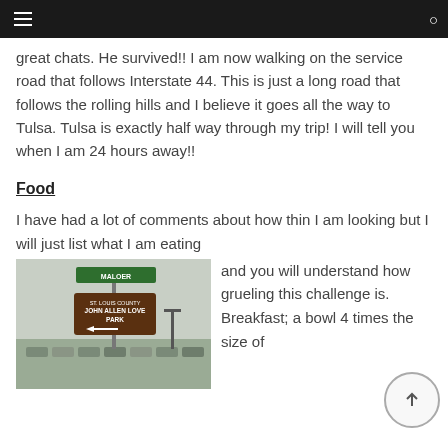≡  [navigation bar]  ◯
great chats. He survived!! I am now walking on the service road that follows Interstate 44. This is just a long road that follows the rolling hills and I believe it goes all the way to Tulsa. Tulsa is exactly half way through my trip! I will tell you when I am 24 hours away!!
Food
I have had a lot of comments about how thin I am looking but I will just list what I am eating and you will understand how grueling this challenge is. Breakfast; a bowl 4 times the size of
[Figure (photo): Photo of a brown park sign reading 'ST. LOUIS COUNTY JOHN ALLEN LOVE PARK' with an arrow, mounted on a pole. A green street sign reading 'MALOER' is visible above. Cars and parking lot in background.]